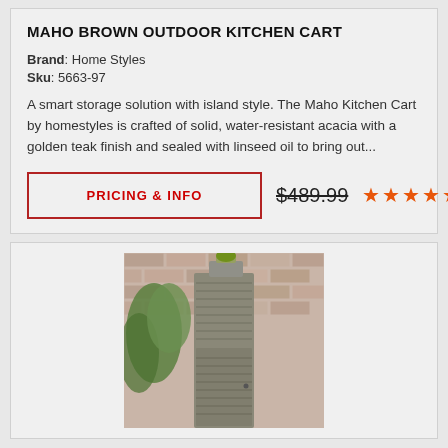MAHO BROWN OUTDOOR KITCHEN CART
Brand: Home Styles
Sku: 5663-97
A smart storage solution with island style. The Maho Kitchen Cart by homestyles is crafted of solid, water-resistant acacia with a golden teak finish and sealed with linseed oil to bring out...
PRICING & INFO
$489.99
[Figure (photo): Outdoor storage cabinet/tower unit against a brick wall with a plant on top]